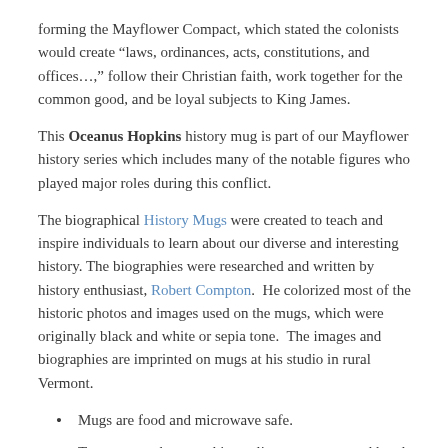forming the Mayflower Compact, which stated the colonists would create “laws, ordinances, acts, constitutions, and offices…,” follow their Christian faith, work together for the common good, and be loyal subjects to King James.
This Oceanus Hopkins history mug is part of our Mayflower history series which includes many of the notable figures who played major roles during this conflict.
The biographical History Mugs were created to teach and inspire individuals to learn about our diverse and interesting history. The biographies were researched and written by history enthusiast, Robert Compton.  He colorized most of the historic photos and images used on the mugs, which were originally black and white or sepia tone.  The images and biographies are imprinted on mugs at his studio in rural Vermont.
Mugs are food and microwave safe.
To preserve photographic quality we recommend hand washing.
Mugs are usually shipped within 3-5 days.
Shipping charges are lower when buying multiple mugs.